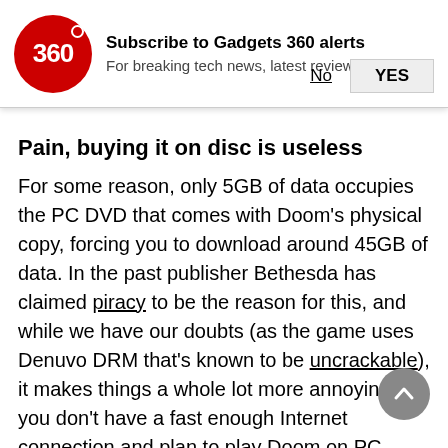[Figure (other): Gadgets 360 logo — red circle with '360' text and a dot — notification subscription banner with title 'Subscribe to Gadgets 360 alerts', subtitle 'For breaking tech news, latest reviews, and more', and two buttons: 'No' (underlined) and 'YES' (button)]
Pain, buying it on disc is useless
For some reason, only 5GB of data occupies the PC DVD that comes with Doom's physical copy, forcing you to download around 45GB of data. In the past publisher Bethesda has claimed piracy to be the reason for this, and while we have our doubts (as the game uses Denuvo DRM that's known to be uncrackable), it makes things a whole lot more annoying if you don't have a fast enough Internet connection and plan to play Doom on PC.
It has a wealth of settings
id wasn't kidding when it said PC gamers would be